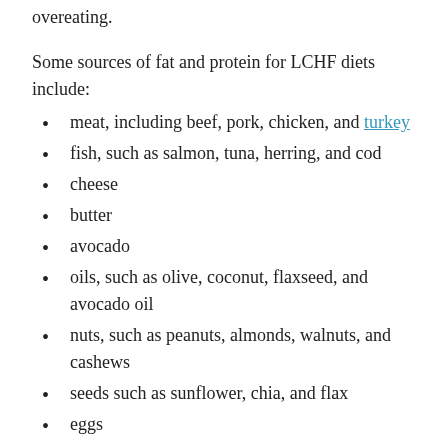overeating.
Some sources of fat and protein for LCHF diets include:
meat, including beef, pork, chicken, and turkey
fish, such as salmon, tuna, herring, and cod
cheese
butter
avocado
oils, such as olive, coconut, flaxseed, and avocado oil
nuts, such as peanuts, almonds, walnuts, and cashews
seeds such as sunflower, chia, and flax
eggs
Some fruits and most non-starchy vegetables are low in carbohydrates. These include: